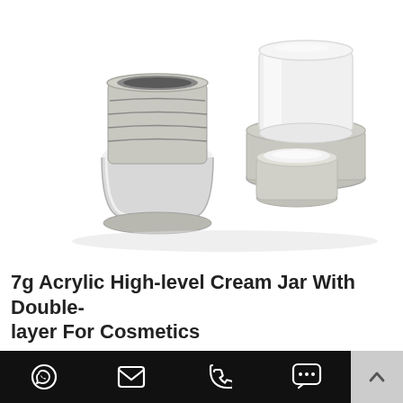[Figure (photo): Product photo showing a small open acrylic cream jar with silver/chrome neck threads on the left, and a white cylindrical cap with a silver-rimmed lid separated on the right, against a white background.]
7g Acrylic High-level Cream Jar With Double-layer For Cosmetics
Yansen 7g acrylic high-level cream jar with double-layer for cosmetics uses high-quality materials, easy to pack, healthy and environmentally friendly, and brings you a comfortable pack
WhatsApp | Email | Phone | Chat | Scroll to top